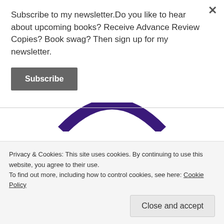Subscribe to my newsletter.Do you like to hear about upcoming books? Receive Advance Review Copies? Book swag? Then sign up for my newsletter.
[Figure (illustration): Purple arc shape visible at top of circular logo, partially visible behind newsletter popup divider]
[Figure (logo): Circular gray logo with a classical building/temple illustration inside]
Privacy & Cookies: This site uses cookies. By continuing to use this website, you agree to their use.
To find out more, including how to control cookies, see here: Cookie Policy